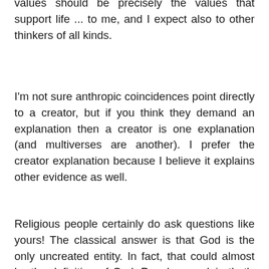values should be precisely the values that support life ... to me, and I expect also to other thinkers of all kinds.
I'm not sure anthropic coincidences point directly to a creator, but if you think they demand an explanation then a creator is one explanation (and multiverses are another). I prefer the creator explanation because I believe it explains other evidence as well.
Religious people certainly do ask questions like yours! The classical answer is that God is the only uncreated entity. In fact, that could almost be the definition of God. People complain that's special pleading, but I think that's somewhat subjective.
Even if we ignore theism for a moment, I think it might be possible to explain the anthropic coincidences via a simulation argument that doesn't trigger infinite regress. For example the creator(s) might live in a universe that is nothing